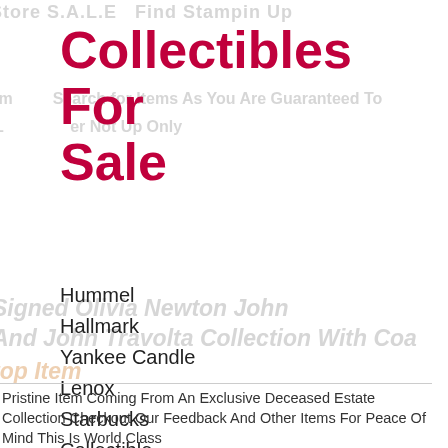Collectibles For Sale
Hummel
Hallmark
Yankee Candle
Lenox
Starbucks
Collectible
Pristine Item Coming From An Exclusive Deceased Estate Collection Checkout Our Feedback And Other Items For Peace Of Mind This Is World Class